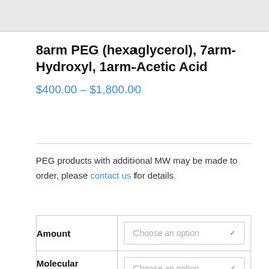8arm PEG (hexaglycerol), 7arm-Hydroxyl, 1arm-Acetic Acid
$400.00 – $1,800.00
PEG products with additional MW may be made to order, please contact us for details
|  |  |
| --- | --- |
| Amount | Choose an option |
| Molecular | Choose an option |